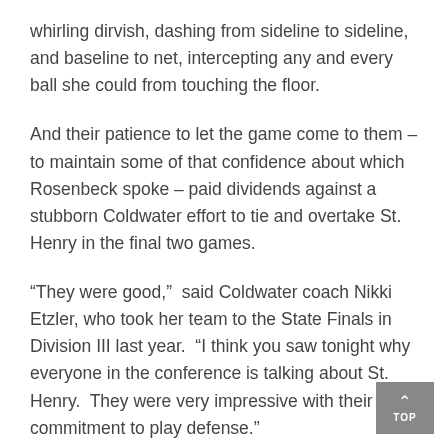whirling dirvish, dashing from sideline to sideline, and baseline to net, intercepting any and every ball she could from touching the floor.
And their patience to let the game come to them – to maintain some of that confidence about which Rosenbeck spoke – paid dividends against a stubborn Coldwater effort to tie and overtake St. Henry in the final two games.
“They were good,”  said Coldwater coach Nikki Etzler, who took her team to the State Finals in Division III last year.  “I think you saw tonight why everyone in the conference is talking about St. Henry.  They were very impressive with their commitment to play defense.”